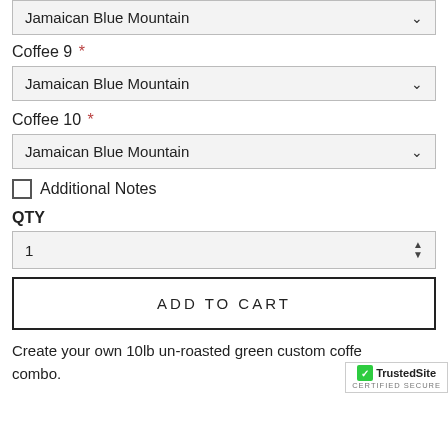Jamaican Blue Mountain (dropdown, top partial)
Coffee 9 *
Jamaican Blue Mountain (dropdown)
Coffee 10 *
Jamaican Blue Mountain (dropdown)
Additional Notes (checkbox)
QTY
1 (quantity spinner)
ADD TO CART
Create your own 10lb un-roasted green custom coffee combo.